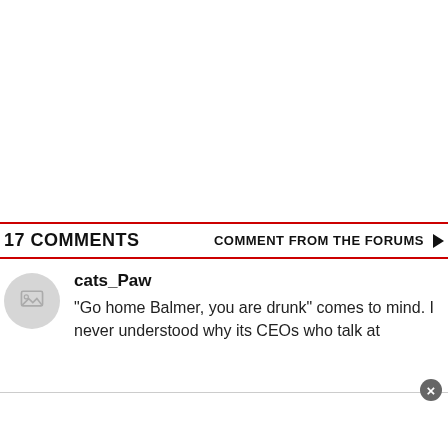17 COMMENTS    COMMENT FROM THE FORUMS ▶
cats_Paw
"Go home Balmer, you are drunk" comes to mind. I never understood why its CEOs who talk at shareholder meetings about it...